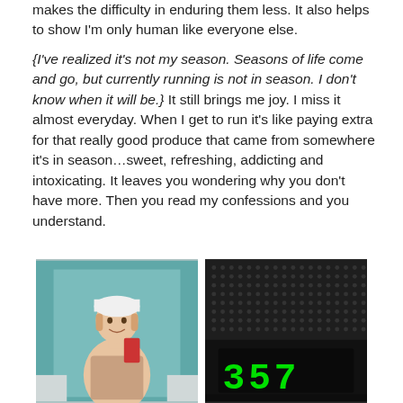makes the difficulty in enduring them less.  It also helps to show I'm only human like everyone else.

{I've realized it's not my season.  Seasons of life come and go, but currently running is not in season.  I don't know when it will be.}  It still brings me joy.  I miss it almost everyday.  When I get to run it's like paying extra for that really good produce that came from somewhere it's in season…sweet, refreshing, addicting and intoxicating.  It leaves you wondering why you don't have more.  Then you read my confessions and you understand.
[Figure (photo): Two photos side by side at the bottom of the page. Left: a selfie of a woman with a white cap in a teal-walled bathroom. Right: a dark panel showing green LED digits resembling '357'.]